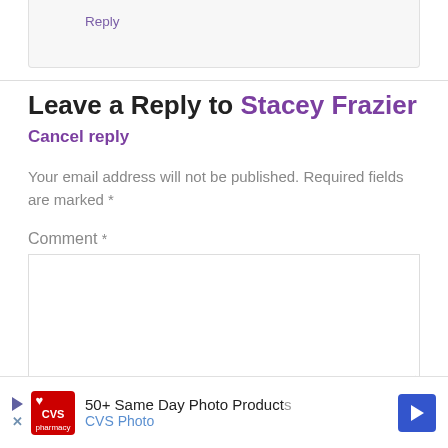Reply
Leave a Reply to Stacey Frazier
Cancel reply
Your email address will not be published. Required fields are marked *
Comment *
[Figure (screenshot): CVS Pharmacy advertisement banner: '50+ Same Day Photo Products / CVS Photo']